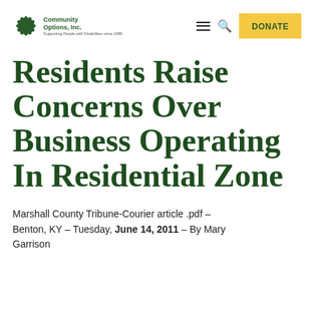[Figure (logo): Community Options, Inc. logo — sunflower icon with text 'Community Options, Inc. Supporting People with Disabilities since 1989']
Residents Raise Concerns Over Business Operating In Residential Zone
Marshall County Tribune-Courier article .pdf – Benton, KY – Tuesday, June 14, 2011 – By Mary Garrison